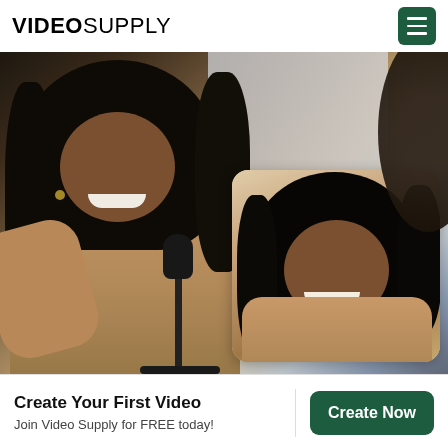VIDEO SUPPLY
[Figure (photo): A smiling woman with long curly black hair wearing a beige/camel outfit seated near a microphone, with an inset close-up photo of another smiling woman with long curly black hair wearing a similar beige outfit. Studio lighting visible. Dark blurred element at far right edge.]
Create Your First Video
Join Video Supply for FREE today!
Create Now